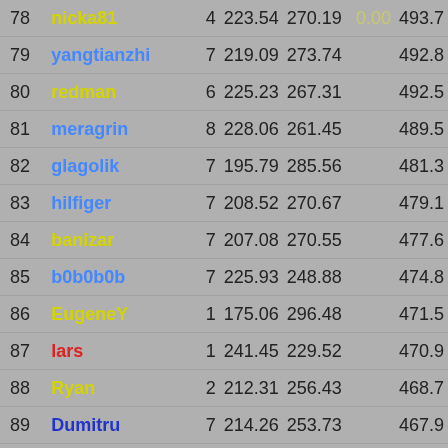| Rank | Username | Num | Score1 | Score2 | Bonus | Total |
| --- | --- | --- | --- | --- | --- | --- |
| 78 | nicka81 | 4 | 223.54 | 270.19 | 0.00 | 493.7 |
| 79 | yangtianzhi | 7 | 219.09 | 273.74 |  | 492.8 |
| 80 | redman | 6 | 225.23 | 267.31 |  | 492.5 |
| 81 | meragrin | 8 | 228.06 | 261.45 |  | 489.5 |
| 82 | glagolik | 7 | 195.79 | 285.56 |  | 481.3 |
| 83 | hilfiger | 7 | 208.52 | 270.67 |  | 479.1 |
| 84 | banizar | 7 | 207.08 | 270.55 |  | 477.6 |
| 85 | b0b0b0b | 7 | 225.93 | 248.88 |  | 474.8 |
| 86 | EugeneY | 1 | 175.06 | 296.48 |  | 471.5 |
| 87 | lars | 1 | 241.45 | 229.52 |  | 470.9 |
| 88 | Ryan | 2 | 212.31 | 256.43 |  | 468.7 |
| 89 | Dumitru | 7 | 214.26 | 253.73 |  | 467.9 |
| 90 | DjinnKahn | 2 | 106.58 | 357.02 |  | 463.6 |
| 91 | joeli | 1 | 231.05 | 224.67 |  | 455.7 |
| 92 | JWizard | 8 | 222.79 | 231.47 |  | 454. |